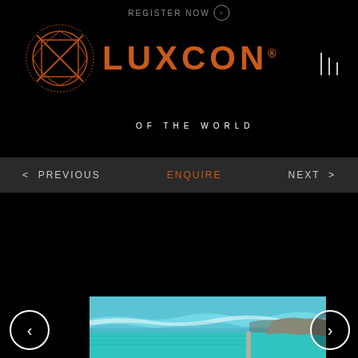REGISTER NOW
[Figure (logo): LUXCON OF THE WORLD logo with circular emblem in orange/copper color on black background]
< PREVIOUS   ENQUIRE   NEXT >
[Figure (photo): Aerial view of Bondi Icebergs ocean pool with turquoise water and ocean waves crashing against rocky coastline]